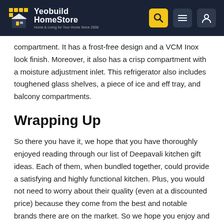Yeobuild HomeStore
compartment. It has a frost-free design and a VCM Inox look finish. Moreover, it also has a crisp compartment with a moisture adjustment inlet. This refrigerator also includes toughened glass shelves, a piece of ice and eff tray, and balcony compartments.
Wrapping Up
So there you have it, we hope that you have thoroughly enjoyed reading through our list of Deepavali kitchen gift ideas. Each of them, when bundled together, could provide a satisfying and highly functional kitchen. Plus, you would not need to worry about their quality (even at a discounted price) because they come from the best and notable brands there are on the market. So we hope you enjoy and have fun during these festivities. We wish you a